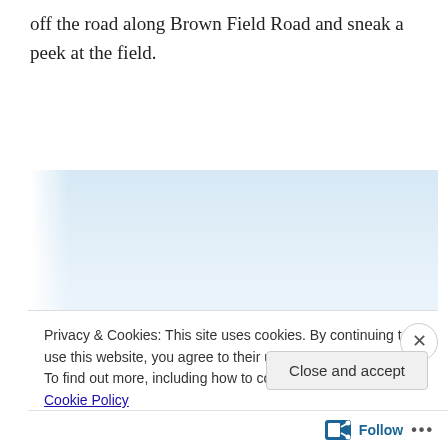off the road along Brown Field Road and sneak a peek at the field.
[Figure (photo): Sunflowers photographed from below against a pale blue-white sky, showing the tops of sunflower heads and stems rising from the bottom of the frame.]
Privacy & Cookies: This site uses cookies. By continuing to use this website, you agree to their use.
To find out more, including how to control cookies, see here: Cookie Policy
Close and accept
Follow ...